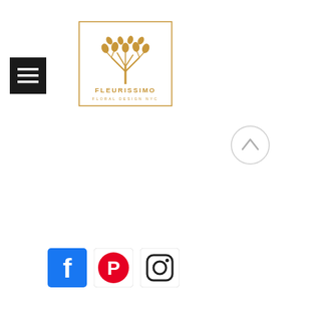[Figure (logo): Hamburger menu button — black square with three white horizontal lines]
[Figure (logo): Fleurissimo Floral Design NYC logo — golden tree with leaves above text FLEURISSIMO / FLORAL DESIGN NYC inside a golden border square]
[Figure (logo): Up/scroll-to-top button — light gray circle with upward-pointing chevron]
[Figure (logo): Social media icons row: Facebook (blue square with white f), Pinterest (red circle with white P on white square), Instagram (camera outline on white square)]